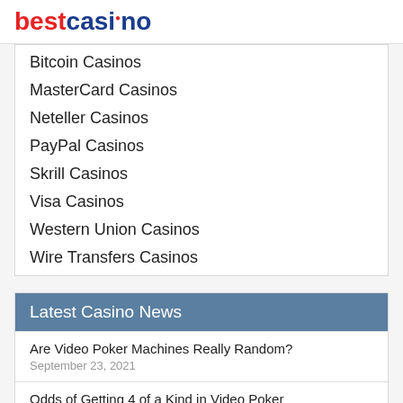bestcasino
Bitcoin Casinos
MasterCard Casinos
Neteller Casinos
PayPal Casinos
Skrill Casinos
Visa Casinos
Western Union Casinos
Wire Transfers Casinos
Latest Casino News
Are Video Poker Machines Really Random?
September 23, 2021
Odds of Getting 4 of a Kind in Video Poker
September 22, 2021
Can Casinos Change Odds on Video Poker?
September 21, 2021